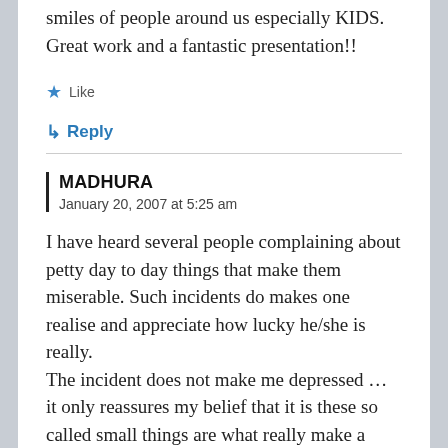smiles of people around us especially KIDS. Great work and a fantastic presentation!!
Like
↳ Reply
MADHURA
January 20, 2007 at 5:25 am
I have heard several people complaining about petty day to day things that make them miserable. Such incidents do makes one realise and appreciate how lucky he/she is really.
The incident does not make me depressed ... it only reassures my belief that it is these so called small things are what really make a difference...u may accomplish as much money and success in life....(it is